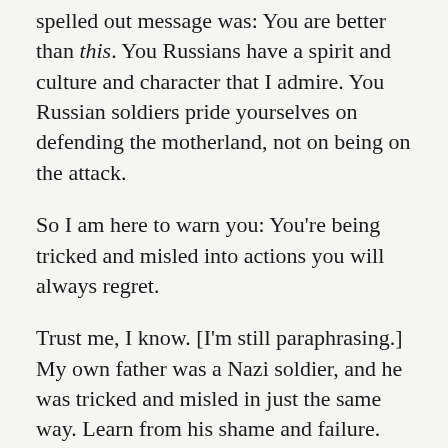spelled out message was: You are better than this. You Russians have a spirit and culture and character that I admire. You Russian soldiers pride yourselves on defending the motherland, not on being on the attack.
So I am here to warn you: You're being tricked and misled into actions you will always regret.
Trust me, I know. [I'm still paraphrasing.] My own father was a Nazi soldier, and he was tricked and misled in just the same way. Learn from his shame and failure. Live up to the greatness of your culture and your nation. I know you well enough to be sure that you'd never do the things you're doing now, if you knew the real facts. Which I'm about to share.